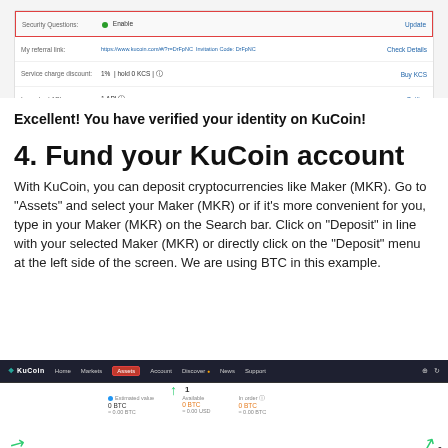[Figure (screenshot): KuCoin account settings screenshot showing Security Questions row highlighted with red border (Enabled), My referral link, Service charge discount, and Launched API rows]
Excellent! You have verified your identity on KuCoin!
4. Fund your KuCoin account
With KuCoin, you can deposit cryptocurrencies like Maker (MKR). Go to “Assets” and select your Maker (MKR) or if it’s more convenient for you, type in your Maker (MKR) on the Search bar. Click on “Deposit” in line with your selected Maker (MKR) or directly click on the “Deposit” menu at the left side of the screen. We are using BTC in this example.
[Figure (screenshot): KuCoin website screenshot showing the Assets tab highlighted with a red border in the navigation bar, and the account overview page with balance statistics]